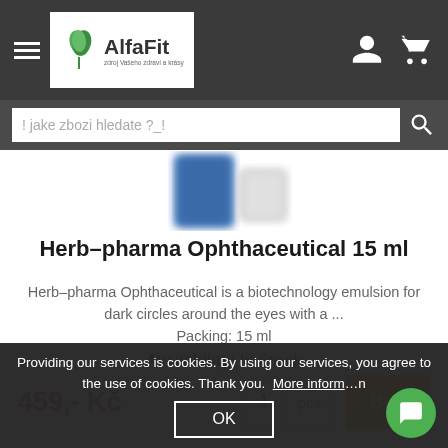[Figure (logo): AlfaFit logo with green leaf icon and tagline]
! jake zbozi hledate ?_!
[Figure (photo): Product image of Herb-pharma Ophthaceutical 15ml, blue and white packaging, partially visible at top]
Herb–pharma Ophthaceutical 15 ml
Herb–pharma Ophthaceutical is a biotechnology emulsion for dark circles around the eyes with a ... Packing: 15 ml
Availability: In Stock
459,- Kč
Providing our services is cookies. By using our services, you agree to the use of cookies. Thank you. More information
OK